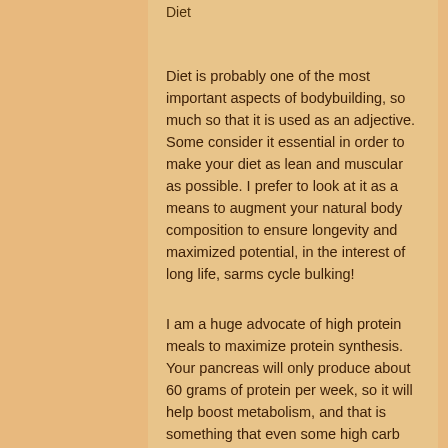Diet
Diet is probably one of the most important aspects of bodybuilding, so much so that it is used as an adjective. Some consider it essential in order to make your diet as lean and muscular as possible. I prefer to look at it as a means to augment your natural body composition to ensure longevity and maximized potential, in the interest of long life, sarms cycle bulking!
I am a huge advocate of high protein meals to maximize protein synthesis. Your pancreas will only produce about 60 grams of protein per week, so it will help boost metabolism, and that is something that even some high carb diets do not do, mass gainer while breastfeeding. A good breakfast will contain 200-250g. In this range you can include 1 g net carbs and about 5g total